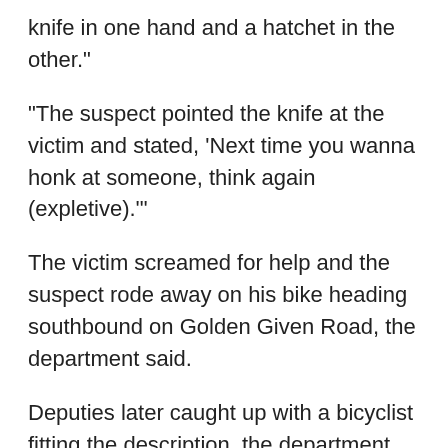knife in one hand and a hatchet in the other."
"The suspect pointed the knife at the victim and stated, 'Next time you wanna honk at someone, think again (expletive).'"
The victim screamed for help and the suspect rode away on his bike heading southbound on Golden Given Road, the department said.
Deputies later caught up with a bicyclist fitting the description, the department said. The man admitted he had approached the woman at the bakery  and that he was angry that she had honked her horn at him. He said that when he saw she had a dog with her, he pulled out a knife and confronted her.